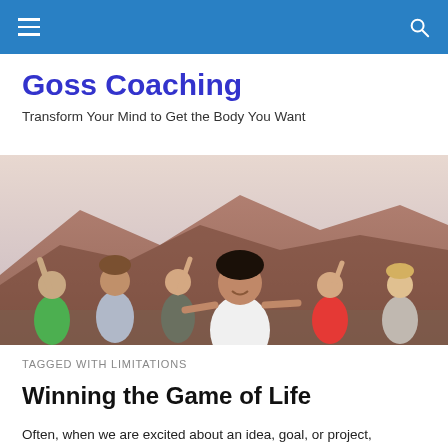Goss Coaching — navigation bar
Goss Coaching
Transform Your Mind to Get the Body You Want
[Figure (photo): Group of women outdoors with arms raised celebrating, mountain landscape in background]
TAGGED WITH LIMITATIONS
Winning the Game of Life
Often, when we are excited about an idea, goal, or project,